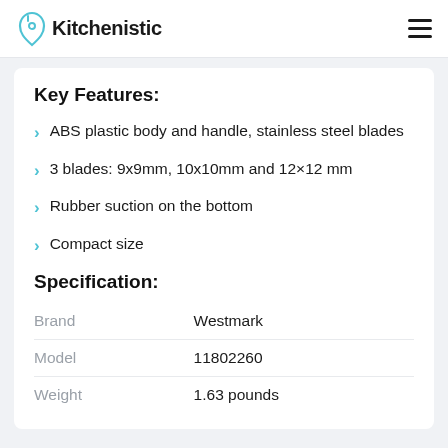Kitchenistic
Key Features:
ABS plastic body and handle, stainless steel blades
3 blades: 9x9mm, 10x10mm and 12×12 mm
Rubber suction on the bottom
Compact size
Specification:
|  |  |
| --- | --- |
| Brand | Westmark |
| Model | 11802260 |
| Weight | 1.63 pounds |